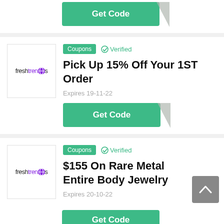[Figure (screenshot): Get Code button (green) with folded corner — top partial card]
[Figure (logo): FreshTrends logo]
Coupons  ✓ Verified
Pick Up 15% Off Your 1ST Order
Expires 19-11-22
[Figure (screenshot): Get Code button (green) with folded corner — second card]
[Figure (logo): FreshTrends logo — second card]
Coupons  ✓ Verified
$155 On Rare Metal Entire Body Jewelry
Expires 20-10-22
[Figure (screenshot): Partial green Get Code button at bottom]